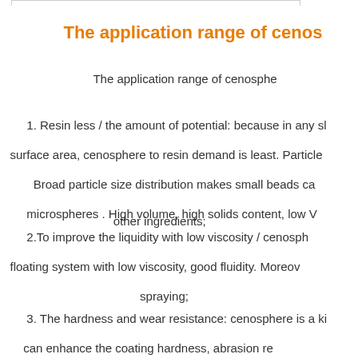The application range of cenos...
The application range of cenosphere...
1. Resin less / the amount of potential: because in any sh... surface area, cenosphere to resin demand is least. Particle... Broad particle size distribution makes small beads ca... microspheres . High volume, high solids content, low V... other ingredients;
2.To improve the liquidity with low viscosity / cenosph... floating system with low viscosity, good fluidity. Moreov... spraying;
3. The hardness and wear resistance: cenosphere is a ki... can enhance the coating hardness, abrasion re...